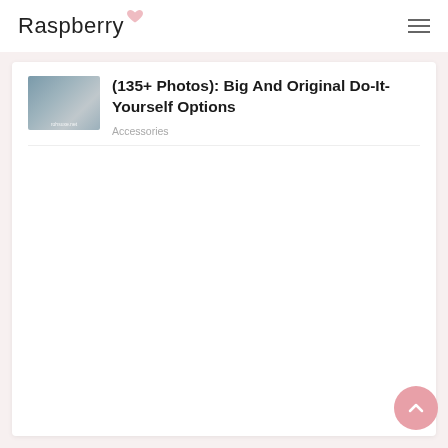Raspberry
(135+ Photos): Big And Original Do-It-Yourself Options
Accessories